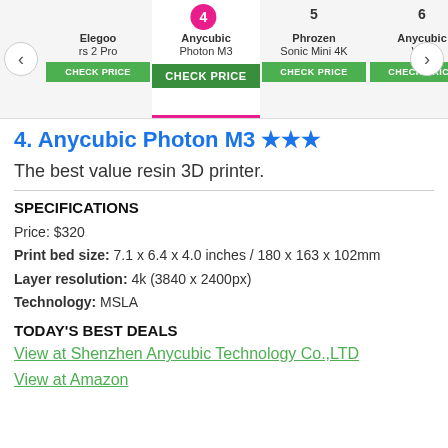[Figure (screenshot): Carousel of 3D printer product cards with navigation arrows. Shows: Elegoo (rs 2 Pro), Anycubic Photon M3 (selected, badge 4), Phrozen Sonic Mini 4K (badge 5), Anycubic Vy... (badge 6). Each card has a CHECK PRICE green button.]
4. Anycubic Photon M3 ★★★
The best value resin 3D printer.
SPECIFICATIONS
Price: $320
Print bed size: 7.1 x 6.4 x 4.0 inches / 180 x 163 x 102mm
Layer resolution: 4k (3840 x 2400px)
Technology: MSLA
TODAY'S BEST DEALS
View at Shenzhen Anycubic Technology Co.,LTD
View at Amazon